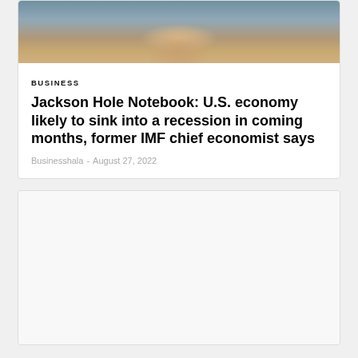[Figure (photo): Close-up photo of a person speaking into a microphone, mouth visible, wearing blue, with blurred colorful background]
BUSINESS
Jackson Hole Notebook: U.S. economy likely to sink into a recession in coming months, former IMF chief economist says
Businesshala - August 27, 2022